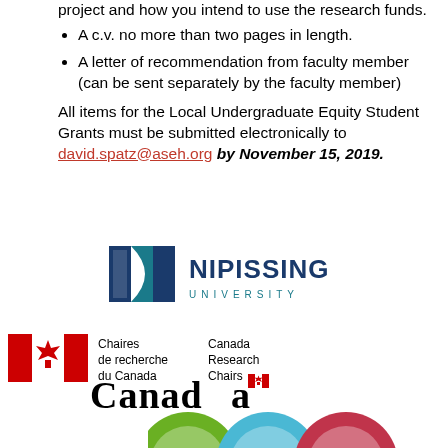project and how you intend to use the research funds.
A c.v. no more than two pages in length.
A letter of recommendation from faculty member (can be sent separately by the faculty member)
All items for the Local Undergraduate Equity Student Grants must be submitted electronically to david.spatz@aseh.org by November 15, 2019.
[Figure (logo): Nipissing University logo with stylized N icon in dark blue and teal text]
[Figure (logo): Canada Research Chairs logo with Canadian flag maple leaf icon and bilingual text: Chaires de recherche du Canada / Canada Research Chairs]
[Figure (logo): Canada wordmark with maple leaf flag icon]
[Figure (logo): Three overlapping circular logos in green, blue, and red at bottom of page]